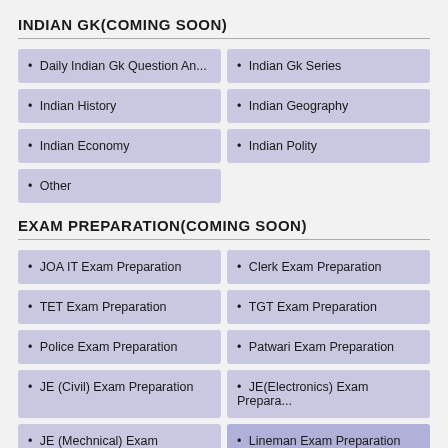INDIAN GK(COMING SOON)
• Daily Indian Gk Question An...
• Indian Gk Series
• Indian History
• Indian Geography
• Indian Economy
• Indian Polity
• Other
EXAM PREPARATION(COMING SOON)
• JOA IT Exam Preparation
• Clerk Exam Preparation
• TET Exam Preparation
• TGT Exam Preparation
• Police Exam Preparation
• Patwari Exam Preparation
• JE (Civil) Exam Preparation
• JE(Electronics) Exam Prepara...
• JE (Mechnical) Exam Prepara...
• Lineman Exam Preparation
• Sub Inspector Exam Prepara...